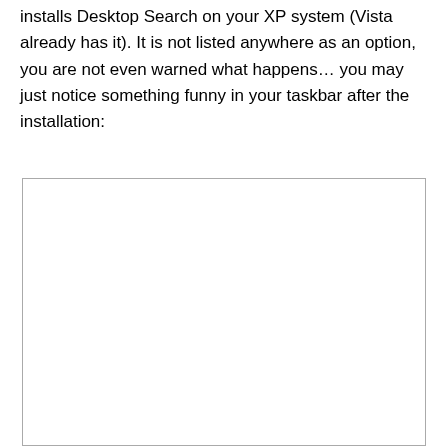installs Desktop Search on your XP system (Vista already has it). It is not listed anywhere as an option, you are not even warned what happens… you may just notice something funny in your taskbar after the installation:
[Figure (screenshot): A blank white screenshot placeholder with a thin gray border, representing a taskbar screenshot referenced in the text.]